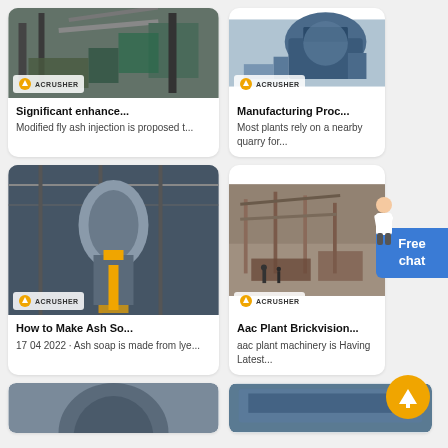[Figure (photo): Acrusher branded image of industrial plant/conveyor system]
Significant enhance...
Modified fly ash injection is proposed t...
[Figure (photo): Acrusher branded image of industrial crusher equipment]
Manufacturing Proc...
Most plants rely on a nearby quarry for...
[Figure (photo): Acrusher branded image of industrial mill/factory interior]
How to Make Ash So...
17 04 2022 · Ash soap is made from lye...
[Figure (photo): Acrusher branded image of outdoor industrial sorting/conveyor plant]
Aac Plant Brickvision...
aac plant machinery is Having Latest...
[Figure (photo): Partial image of industrial tank/vessel at bottom left]
[Figure (photo): Partial image of building/facility at bottom right]